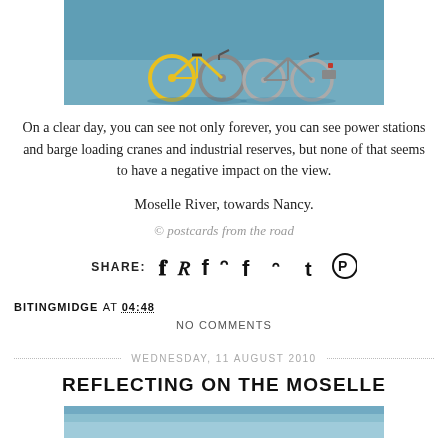[Figure (photo): Bicycles (yellow and other colors) parked by a blue water surface, viewed from above/side]
On a clear day, you can see not only forever, you can see power stations and barge loading cranes and industrial reserves, but none of that seems to have a negative impact on the view.
Moselle River, towards Nancy.
© postcards from the road
SHARE:
BITINGMIDGE AT 04:48
NO COMMENTS
WEDNESDAY, 11 AUGUST 2010
REFLECTING ON THE MOSELLE
[Figure (photo): Partial photo at bottom of page, blue water/river scene]